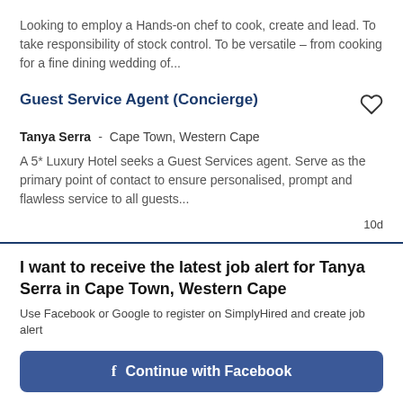Looking to employ a Hands-on chef to cook, create and lead. To take responsibility of stock control. To be versatile – from cooking for a fine dining wedding of...
Guest Service Agent (Concierge)
Tanya Serra -  Cape Town, Western Cape
A 5* Luxury Hotel seeks a Guest Services agent. Serve as the primary point of contact to ensure personalised, prompt and flawless service to all guests...
10d
I want to receive the latest job alert for Tanya Serra in Cape Town, Western Cape
Use Facebook or Google to register on SimplyHired and create job alert
Continue with Facebook